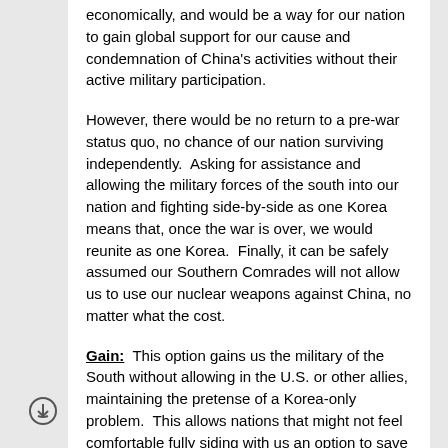economically, and would be a way for our nation to gain global support for our cause and condemnation of China's activities without their active military participation.
However, there would be no return to a pre-war status quo, no chance of our nation surviving independently.  Asking for assistance and allowing the military forces of the south into our nation and fighting side-by-side as one Korea means that, once the war is over, we would reunite as one Korea.  Finally, it can be safely assumed our Southern Comrades will not allow us to use our nuclear weapons against China, no matter what the cost.
Gain:  This option gains us the military of the South without allowing in the U.S. or other allies, maintaining the pretense of a Korea-only problem.  This allows nations that might not feel comfortable fully siding with us an option to save face by aligning with our allies and conducting diplomatic and economic battle with China while remaining out of the active conflict.  Finally, fighting side-by-side with only our Southern Comrades puts us in the best position to ensure both the survival of our regime leadership and bargain for our people as we reunite...